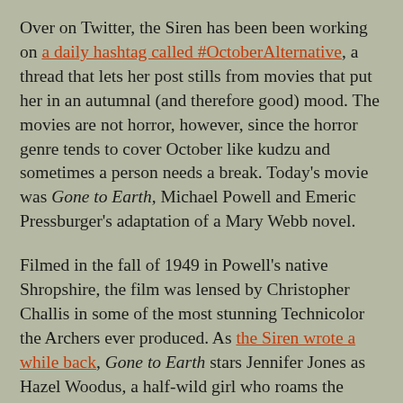Over on Twitter, the Siren has been been working on a daily hashtag called #OctoberAlternative, a thread that lets her post stills from movies that put her in an autumnal (and therefore good) mood. The movies are not horror, however, since the horror genre tends to cover October like kudzu and sometimes a person needs a break. Today's movie was Gone to Earth, Michael Powell and Emeric Pressburger's adaptation of a Mary Webb novel.
Filmed in the fall of 1949 in Powell's native Shropshire, the film was lensed by Christopher Challis in some of the most stunning Technicolor the Archers ever produced. As the Siren wrote a while back, Gone to Earth stars Jennifer Jones as Hazel Woodus, a half-wild girl who roams the countryside with her pet fox, and is loved chastely by a Baptist minister (Cyril Cusack), and carnally by a ruthless squire (David Farrar). She marries the reverend, and he refrains from consummating the union, believing Hazel's innocence shouldn't be profaned. But the squire has no such scruples, and he continues to pursue Hazel, even as it remains clear that she belongs not to men but to the earth of the title. (The